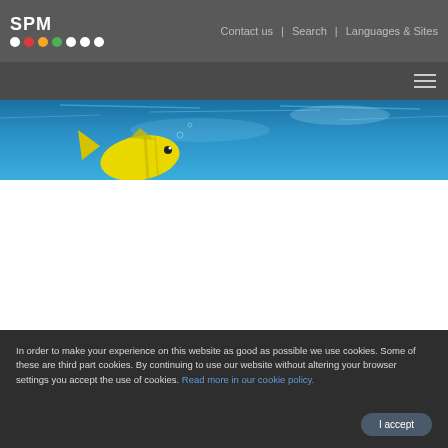SPM | Contact us | Search | Languages & Sites
[Figure (photo): Hero banner showing an underwater scene with blue water and a yellow tropical fish in the upper left portion]
In order to make your experience on this website as good as possible we use cookies. Some of these are third part cookies. By continuing to use our website without altering your browser settings you accept the use of cookies. Read more in our cookie policy.